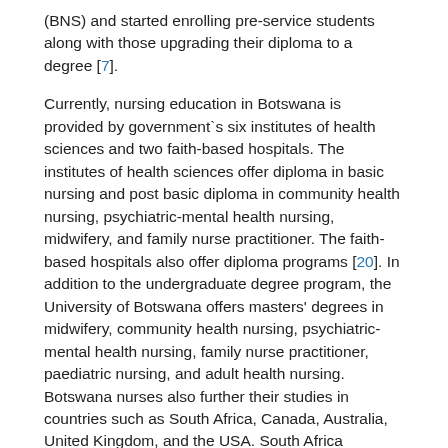(BNS) and started enrolling pre-service students along with those upgrading their diploma to a degree [7].
Currently, nursing education in Botswana is provided by government`s six institutes of health sciences and two faith-based hospitals. The institutes of health sciences offer diploma in basic nursing and post basic diploma in community health nursing, psychiatric-mental health nursing, midwifery, and family nurse practitioner. The faith-based hospitals also offer diploma programs [20]. In addition to the undergraduate degree program, the University of Botswana offers masters' degrees in midwifery, community health nursing, psychiatric-mental health nursing, family nurse practitioner, paediatric nursing, and adult health nursing. Botswana nurses also further their studies in countries such as South Africa, Canada, Australia, United Kingdom, and the USA. South Africa provides both undergraduate and post-graduate degrees while universities overseas mainly provide post-graduate degrees.
Literature Review